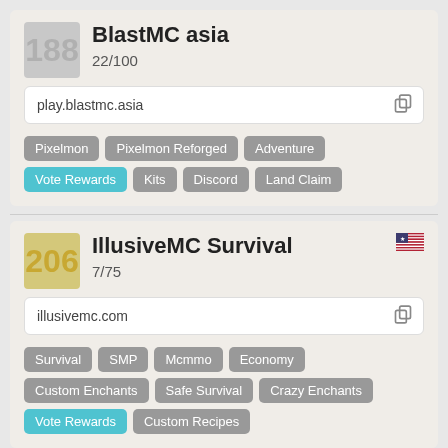188
BlastMC asia
22/100
play.blastmc.asia
Pixelmon
Pixelmon Reforged
Adventure
Vote Rewards
Kits
Discord
Land Claim
206
IllusiveMC Survival
7/75
illusivemc.com
Survival
SMP
Mcmmo
Economy
Custom Enchants
Safe Survival
Crazy Enchants
Vote Rewards
Custom Recipes